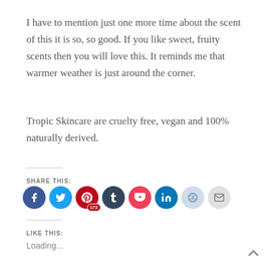I have to mention just one more time about the scent of this it is so, so good. If you like sweet, fruity scents then you will love this. It reminds me that warmer weather is just around the corner.
Tropic Skincare are cruelty free, vegan and 100% naturally derived.
Share this:
[Figure (infographic): Social sharing icons: Facebook, Twitter, Pinterest (172), Tumblr, Pocket, LinkedIn, Reddit, Email]
Like this:
Loading...